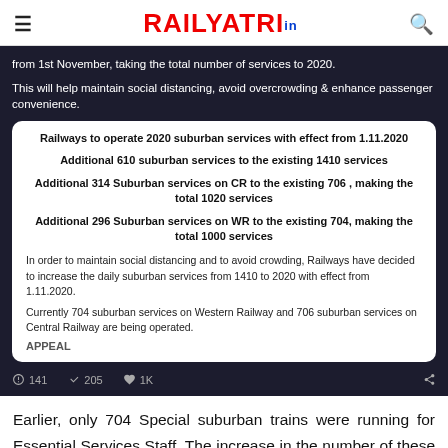RAILYATRI.in
[Figure (screenshot): Screenshot of a tweet/social media post on dark background. Contains text about Railways operating 2020 suburban services with effect from 1.11.2020, additional 610 suburban services to existing 1410, additional 314 on CR to existing 706 making total 1020, additional 296 on WR to existing 704 making total 1000. Body text about maintaining social distancing. Tweet engagement: 141 comments, 205 retweets, 1K likes.]
Earlier, only 704 Special suburban trains were running for Essential Services Staff. The increase in the number of these daily trains will help maintain social distancing and avoid overcrowding.